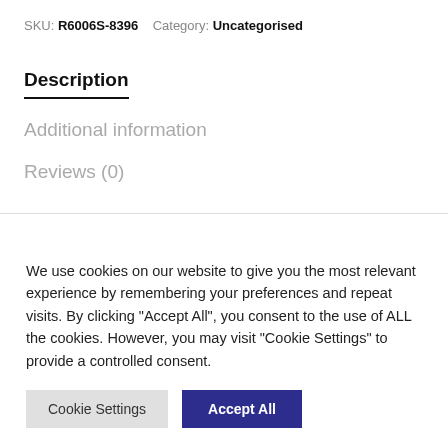SKU: R6006S-8396    Category: Uncategorised
Description
Additional information
Reviews (0)
We use cookies on our website to give you the most relevant experience by remembering your preferences and repeat visits. By clicking "Accept All", you consent to the use of ALL the cookies. However, you may visit "Cookie Settings" to provide a controlled consent.